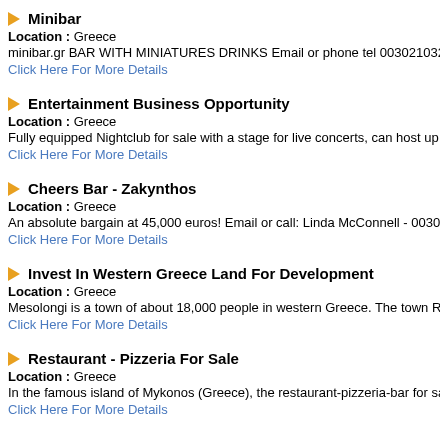Minibar
Location: Greece
minibar.gr BAR WITH MINIATURES DRINKS Email or phone tel 003021032
Click Here For More Details
Entertainment Business Opportunity
Location: Greece
Fully equipped Nightclub for sale with a stage for live concerts, can host up
Click Here For More Details
Cheers Bar - Zakynthos
Location: Greece
An absolute bargain at 45,000 euros! Email or call: Linda McConnell - 0030
Click Here For More Details
Invest In Western Greece Land For Development
Location: Greece
Mesolongi is a town of about 18,000 people in western Greece. The town R
Click Here For More Details
Restaurant - Pizzeria For Sale
Location: Greece
In the famous island of Mykonos (Greece), the restaurant-pizzeria-bar for sa
Click Here For More Details